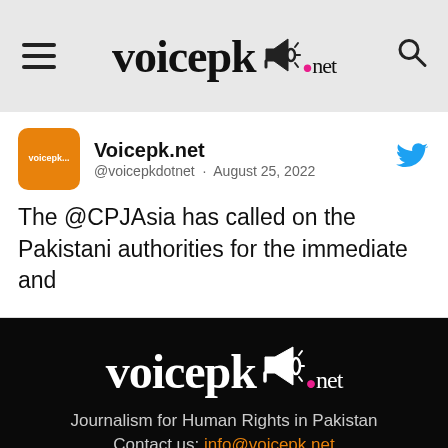voicepk.net
Voicepk.net @voicepkdotnet · August 25, 2022
The @CPJAsia has called on the Pakistani authorities for the immediate and
[Figure (logo): voicepk.net logo with megaphone on black background]
Journalism for Human Rights in Pakistan
Contact us: info@voicepk.net
Facebook and Instagram icons